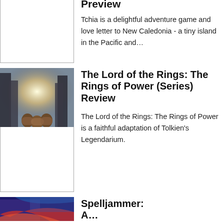Preview
Tchia is a delightful adventure game and love letter to New Caledonia - a tiny island in the Pacific and…
[Figure (photo): Photo of figures walking in a city street with bright backlight (Lord of the Rings promotional image)]
The Lord of the Rings: The Rings of Power (Series) Review
The Lord of the Rings: The Rings of Power is a faithful adaptation of Tolkien's Legendarium.
[Figure (photo): Partial photo visible at bottom - Spelljammer promotional art with blue/purple tones]
Spelljammer: A...